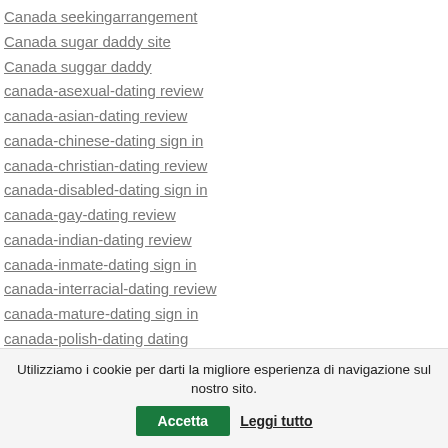Canada seekingarrangement
Canada sugar daddy site
Canada suggar daddy
canada-asexual-dating review
canada-asian-dating review
canada-chinese-dating sign in
canada-christian-dating review
canada-disabled-dating sign in
canada-gay-dating review
canada-indian-dating review
canada-inmate-dating sign in
canada-interracial-dating review
canada-mature-dating sign in
canada-polish-dating dating
canada-polish-dating reviews
canada-…
Utilizziamo i cookie per darti la migliore esperienza di navigazione sul nostro sito. Accetta Leggi tutto